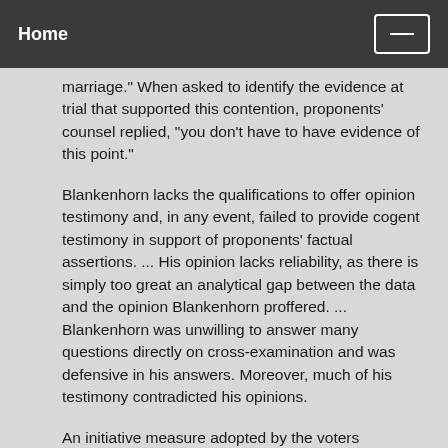Home
marriage." When asked to identify the evidence at trial that supported this contention, proponents' counsel replied, "you don't have to have evidence of this point."
Blankenhorn lacks the qualifications to offer opinion testimony and, in any event, failed to provide cogent testimony in support of proponents' factual assertions. ... His opinion lacks reliability, as there is simply too great an analytical gap between the data and the opinion Blankenhorn proffered. ... Blankenhorn was unwilling to answer many questions directly on cross-examination and was defensive in his answers. Moreover, much of his testimony contradicted his opinions.
An initiative measure adopted by the voters deserves great respect. The considered views and opinions of even the most highly qualified scholars and experts seldom outweigh the determinations of the voters. When challenged, however, the voters'